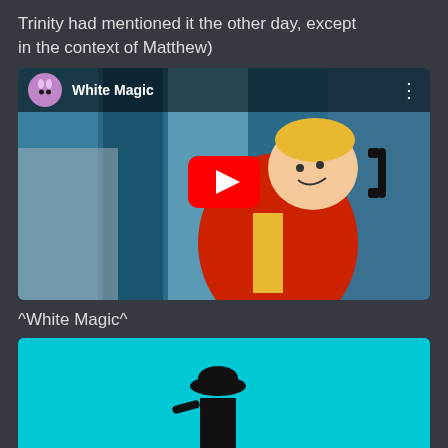Trinity had mentioned it the other day, except in the context of Matthew)
[Figure (screenshot): YouTube video embed showing a cartoon character (blonde boy in red coat) with a YouTube channel avatar labeled 'White Magic' in the top bar and a red YouTube play button overlay in the center]
^White Magic^
[Figure (illustration): Cyan/turquoise background with a black silhouette of a figure wearing a hat, partially visible, cropped at bottom]